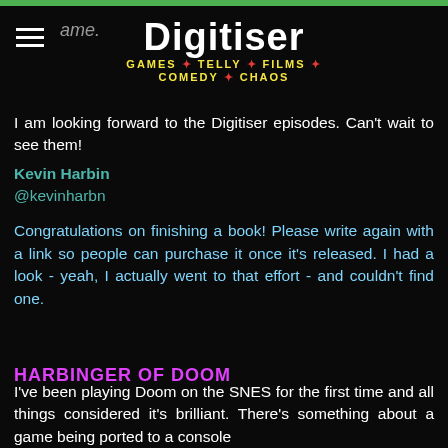Digitiser — GAMES * TELLY * FILMS * COMEDY * CHAOS
I am looking forward to the Digitiser episodes. Can't wait to see them!
Kevin Harbin
@kevinharbn
Congratulations on finishing a book! Please write again with a link so people can purchase it once it's released. I had a look - yeah, I actually went to that effort - and couldn't find one.
HARBINGER OF DOOM
I've been playing Doom on the SNES for the first time and all things considered it's brilliant. There's something about a game being ported to a console